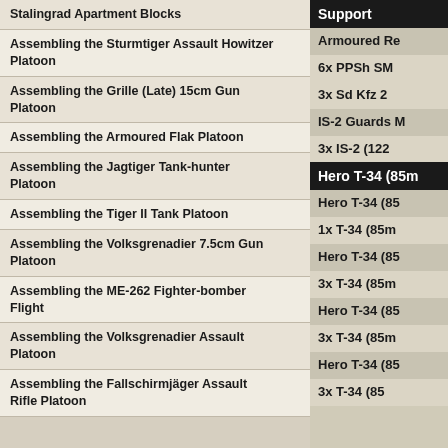Stalingrad Apartment Blocks
Assembling the Sturmtiger Assault Howitzer Platoon
Assembling the Grille (Late) 15cm Gun Platoon
Assembling the Armoured Flak Platoon
Assembling the Jagtiger Tank-hunter Platoon
Assembling the Tiger II Tank Platoon
Assembling the Volksgrenadier 7.5cm Gun Platoon
Assembling the ME-262 Fighter-bomber Flight
Assembling the Volksgrenadier Assault Platoon
Assembling the Fallschirmjäger Assault Rifle Platoon
Support
Armoured Re...
6x PPSh SM...
3x Sd Kfz 2...
IS-2 Guards...
3x IS-2 (122...
Hero T-34 (85mm...
Hero T-34 (85...
1x T-34 (85m...
Hero T-34 (85...
3x T-34 (85m...
Hero T-34 (85...
3x T-34 (85m...
Hero T-34 (85...
3x T-34 (85...